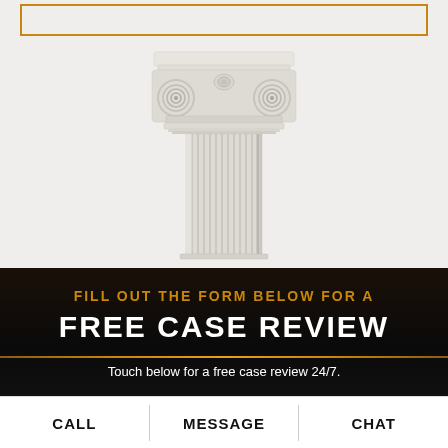[Figure (illustration): White classical Ionic column capital on a light gray background, with an orange rectangular border at the top of the section]
FILL OUT THE FORM BELOW FOR A
FREE CASE REVIEW
Touch below for a free case review 24/7.
CALL | MESSAGE | CHAT